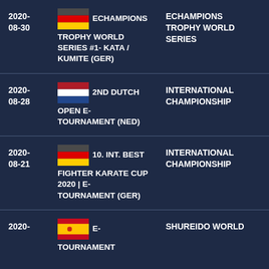| Date | Event | Type |
| --- | --- | --- |
| 2020-08-30 | ECHAMPIONS TROPHY WORLD SERIES #1- KATA / KUMITE (GER) | ECHAMPIONS TROPHY WORLD SERIES |
| 2020-08-28 | 2ND DUTCH OPEN E-TOURNAMENT (NED) | INTERNATIONAL CHAMPIONSHIP |
| 2020-08-21 | 10. INT. BEST FIGHTER KARATE CUP 2020 | E-TOURNAMENT (GER) | INTERNATIONAL CHAMPIONSHIP |
| 2020- | E-TOURNAMENT | SHUREIDO WORLD |